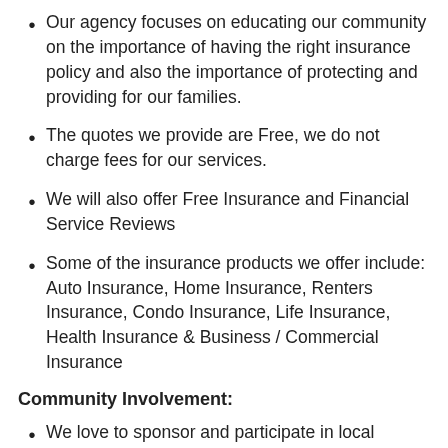Our agency focuses on educating our community on the importance of having the right insurance policy and also the importance of protecting and providing for our families.
The quotes we provide are Free, we do not charge fees for our services.
We will also offer Free Insurance and Financial Service Reviews
Some of the insurance products we offer include: Auto Insurance, Home Insurance, Renters Insurance, Condo Insurance, Life Insurance, Health Insurance & Business / Commercial Insurance
Community Involvement:
We love to sponsor and participate in local events and also give back to our community.